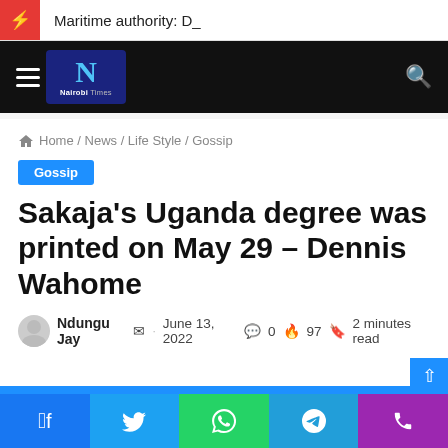Maritime authority: D_
[Figure (logo): Nairobi Times logo — dark navy background with large blue N and 'Nairobi Times' text in white/grey]
Home / News / Life Style / Gossip
Gossip
Sakaja's Uganda degree was printed on May 29 – Dennis Wahome
Ndungu Jay  •  June 13, 2022  💬 0  🔥 97  🔖 2 minutes read